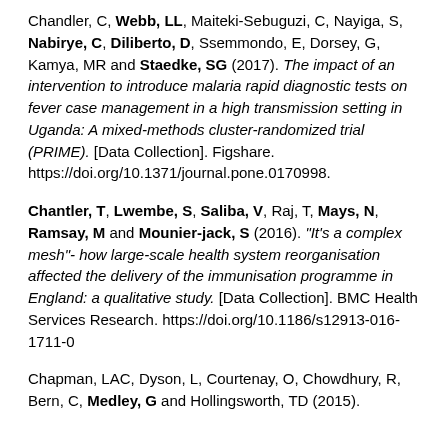Chandler, C, Webb, LL, Maiteki-Sebuguzi, C, Nayiga, S, Nabirye, C, Diliberto, D, Ssemmondo, E, Dorsey, G, Kamya, MR and Staedke, SG (2017). The impact of an intervention to introduce malaria rapid diagnostic tests on fever case management in a high transmission setting in Uganda: A mixed-methods cluster-randomized trial (PRIME). [Data Collection]. Figshare. https://doi.org/10.1371/journal.pone.0170998.
Chantler, T, Lwembe, S, Saliba, V, Raj, T, Mays, N, Ramsay, M and Mounier-jack, S (2016). "It's a complex mesh"- how large-scale health system reorganisation affected the delivery of the immunisation programme in England: a qualitative study. [Data Collection]. BMC Health Services Research. https://doi.org/10.1186/s12913-016-1711-0
Chapman, LAC, Dyson, L, Courtenay, O, Chowdhury, R, Bern, C, Medley, G and Hollingsworth, TD (2015).